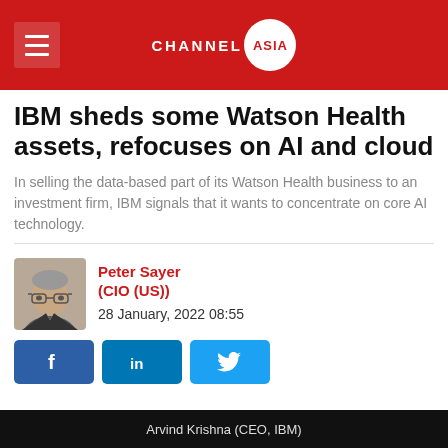CHANNEL ASIA
IBM sheds some Watson Health assets, refocuses on AI and cloud
In selling the data-based part of its Watson Health business to an investment firm, IBM signals that it wants to concentrate on core AI technology.
Peter Sayer (CIO (US))
28 January, 2022 08:55
[Figure (photo): Author headshot of Peter Sayer]
Arvind Krishna (CEO, IBM)